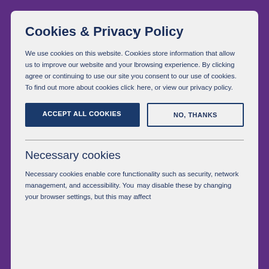Cookies & Privacy Policy
We use cookies on this website. Cookies store information that allow us to improve our website and your browsing experience. By clicking agree or continuing to use our site you consent to our use of cookies. To find out more about cookies click here, or view our privacy policy.
ACCEPT ALL COOKIES
NO, THANKS
Necessary cookies
Necessary cookies enable core functionality such as security, network management, and accessibility. You may disable these by changing your browser settings, but this may affect